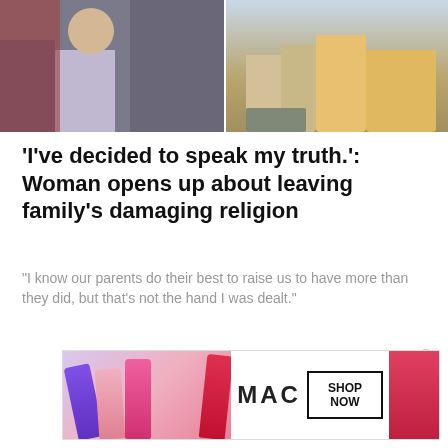[Figure (photo): Two-panel hero image: left panel shows a young girl with adults in background; right panel shows people's legs and feet outdoors.]
‘I’ve decided to speak my truth.’: Woman opens up about leaving family’s damaging religion
“I know our parents do their best to raise us to have more than they did, but that’s not the hand I was dealt.”
[Figure (photo): MAC Cosmetics advertisement banner showing colorful lipsticks with 'SHOP NOW' text and MAC logo.]